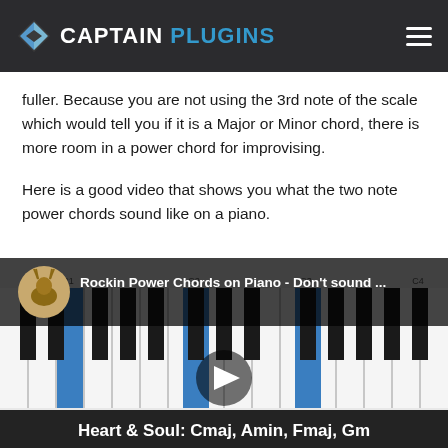CAPTAIN PLUGINS
fuller. Because you are not using the 3rd note of the scale which would tell you if it is a Major or Minor chord, there is more room in a power chord for improvising.
Here is a good video that shows you what the two note power chords sound like on a piano.
[Figure (screenshot): Embedded YouTube video thumbnail showing piano keys with title 'Rockin Power Chords on Piano - Don't sound ...' and subtitle 'Heart & Soul: Cmaj, Amin, Fmaj, Gm' with a play button overlay. A circular avatar with a deer logo is shown in upper left.]